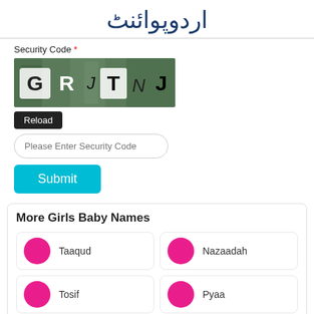اردوپوائنٹ
Security Code *
[Figure (other): CAPTCHA image showing letters G R J T N J on a green background]
Reload
Please Enter Security Code
Submit
More Girls Baby Names
Taaqud
Nazaadah
Tosif
Pyaa
Roxey
Safeena